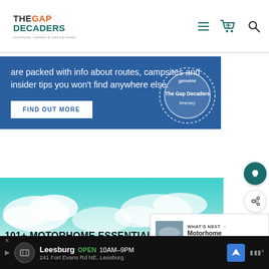THE GAP DECADERS — motorhome, overland & road trip travels
are packed with info about routes, campsites and insider tips you won't find anywhere else.
FIND OUT MORE
[Figure (logo): The Gap Decaders genuine itinerary stamp seal]
101+ MOTORHOME ESSENTIALS YOU NEED FOR YOUR NEXT TRIP + FREE PACKING LIST
[Figure (photo): Motorhome wild camping scene thumbnail for What's Next section]
WHAT'S NEXT → Motorhome Wild Camping
Leesburg  OPEN 10AM–9PM  241 Fort Evans Rd NE, Leesburg